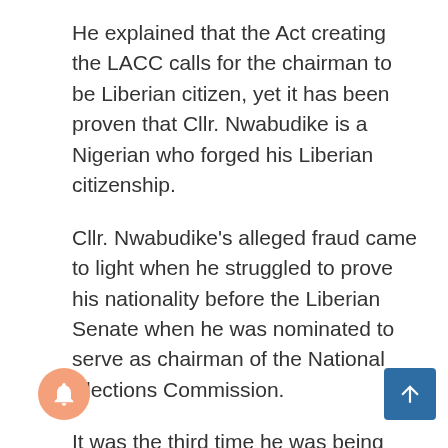He explained that the Act creating the LACC calls for the chairman to be Liberian citizen, yet it has been proven that Cllr. Nwabudike is a Nigerian who forged his Liberian citizenship.
Cllr. Nwabudike's alleged fraud came to light when he struggled to prove his nationality before the Liberian Senate when he was nominated to serve as chairman of the National Elections Commission.
It was the third time he was being nominated to a high-profile post by President George Weah.
Cllr. Nwabudike was first appointed to serve as Chairman of the Governance Commission, followed by his nomination and subsequent